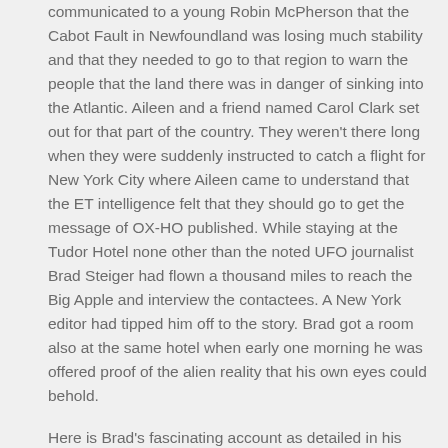communicated to a young Robin McPherson that the Cabot Fault in Newfoundland was losing much stability and that they needed to go to that region to warn the people that the land there was in danger of sinking into the Atlantic. Aileen and a friend named Carol Clark set out for that part of the country. They weren't there long when they were suddenly instructed to catch a flight for New York City where Aileen came to understand that the ET intelligence felt that they should go to get the message of OX-HO published. While staying at the Tudor Hotel none other than the noted UFO journalist Brad Steiger had flown a thousand miles to reach the Big Apple and interview the contactees. A New York editor had tipped him off to the story. Brad got a room also at the same hotel when early one morning he was offered proof of the alien reality that his own eyes could behold.
Here is Brad's fascinating account as detailed in his book of what he saw on December 14, 1969: